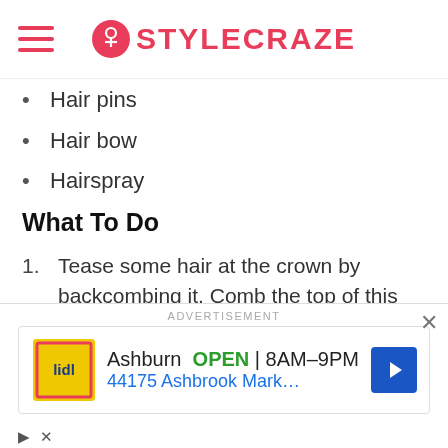STYLECRAZE
Hair pins
Hair bow
Hairspray
What To Do
1. Tease some hair at the crown by backcombing it. Comb the top of this section to neaten it.
2. Gather all your hair and tie it in a high ponytail, leaving out only your bangs.
3. Divide the ponytail in two. Weave each section
[Figure (screenshot): Advertisement banner for Lidl store in Ashburn showing open hours 8AM-9PM and address 44175 Ashbrook Marketpla...]